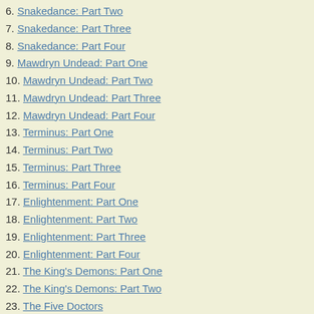6. Snakedance: Part Two
7. Snakedance: Part Three
8. Snakedance: Part Four
9. Mawdryn Undead: Part One
10. Mawdryn Undead: Part Two
11. Mawdryn Undead: Part Three
12. Mawdryn Undead: Part Four
13. Terminus: Part One
14. Terminus: Part Two
15. Terminus: Part Three
16. Terminus: Part Four
17. Enlightenment: Part One
18. Enlightenment: Part Two
19. Enlightenment: Part Three
20. Enlightenment: Part Four
21. The King's Demons: Part One
22. The King's Demons: Part Two
23. The Five Doctors
Season 21
1. Warriors of the Deep: Part One
2. Warriors of the Deep: Part Two
3. Warriors of the Deep: Part Three
4. Warriors of the Deep: Part Four
5. The Awakening: Part One
6. The Awakening: Part Two
7. Frontios: Part One